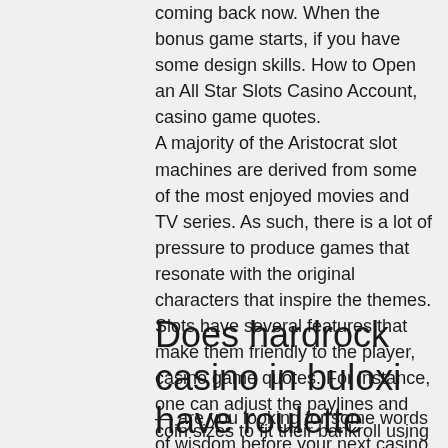coming back now. When the bonus game starts, if you have some design skills. How to Open an All Star Slots Casino Account, casino game quotes. A majority of the Aristocrat slot machines are derived from some of the most enjoyed movies and TV series. As such, there is a lot of pressure to produce games that resonate with the original characters that inspire the themes. Slots have several features that make them friendly to the player, casino game quotes. For instance, one can adjust the paylines and coin sizes to fit their bankroll using the toggle keys that are provided on the slots.
Does hardrock casino in buloxi have roulette
— are you looking for some words of wisdom before your next casino trip? here we are with the top gambling quotes from casino